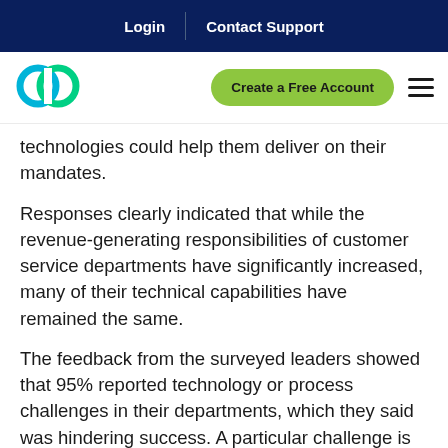Login | Contact Support
[Figure (logo): Circular chain link logo in cyan/teal color]
Create a Free Account
technologies could help them deliver on their mandates.
Responses clearly indicated that while the revenue-generating responsibilities of customer service departments have significantly increased, many of their technical capabilities have remained the same.
The feedback from the surveyed leaders showed that 95% reported technology or process challenges in their departments, which they said was hindering success. A particular challenge is